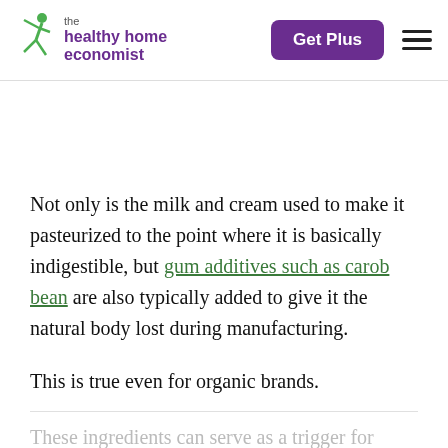the healthy home economist | Get Plus
Not only is the milk and cream used to make it pasteurized to the point where it is basically indigestible, but gum additives such as carob bean are also typically added to give it the natural body lost during manufacturing.
This is true even for organic brands.
These ingredients can serve as a trigger for